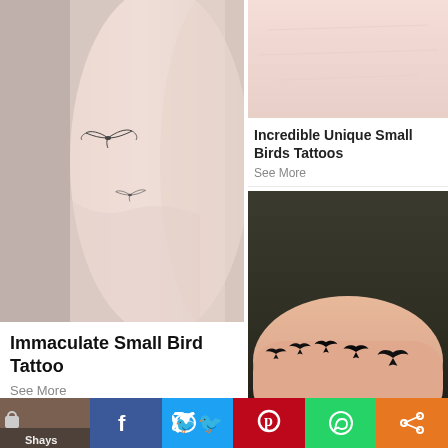[Figure (photo): Close-up photo of a wrist/forearm with two small delicate bird tattoos in fine line style on pale skin]
Immaculate Small Bird Tattoo
See More
[Figure (photo): Close-up of skin texture, pale pink/peach skin surface, partial view]
Incredible Unique Small Birds Tattoos
See More
[Figure (photo): Forearm/wrist resting on dark fabric showing five small black silhouette flying birds tattoo in a row]
[Figure (photo): Social share bar with Facebook, Twitter, Pinterest, WhatsApp and share icons, and a small thumbnail on the left with 'Shays' watermark text]